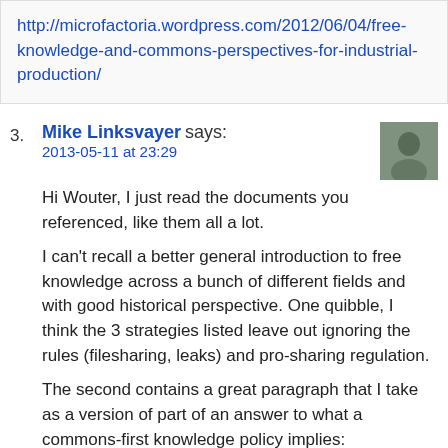http://microfactoria.wordpress.com/2012/06/04/free-knowledge-and-commons-perspectives-for-industrial-production/
Mike Linksvayer says: 2013-05-11 at 23:29
Hi Wouter, I just read the documents you referenced, like them all a lot.
I can't recall a better general introduction to free knowledge across a bunch of different fields and with good historical perspective. One quibble, I think the 3 strategies listed leave out ignoring the rules (filesharing, leaks) and pro-sharing regulation.
The second contains a great paragraph that I take as a version of part of an answer to what a commons-first knowledge policy implies:
Unfortunately these 5 conditions don't have